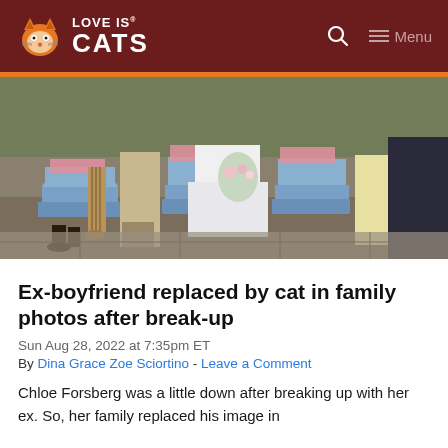LOVE IS CATS
[Figure (photo): Wedding group photo showing people from the waist down wearing formal attire including blue bridesmaid dresses with pink sashes and a white wedding dress, with a cat visible among the group]
Ex-boyfriend replaced by cat in family photos after break-up
Sun Aug 28, 2022 at 7:35pm ET
By Dina Grace Zoe Sciortino - Leave a Comment
Chloe Forsberg was a little down after breaking up with her ex. So, her family replaced his image in